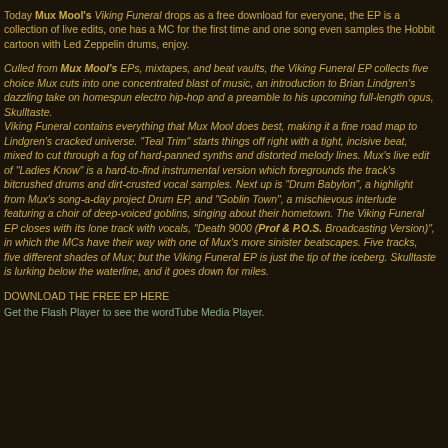Today Mux Mool's Viking Funeral drops as a free download for everyone, the EP is a collection of live edits, one has a MC for the first time and one song even samples the Hobbit cartoon with Led Zeppelin drums, enjoy.
Culled from Mux Mool's EPs, mixtapes, and beat vaults, the Viking Funeral EP collects five choice Mux cuts into one concentrated blast of music, an introduction to Brian Lindgren's dazzling take on homespun electro hip-hop and a preamble to his upcoming full-length opus, Skulltaste. Viking Funeral contains everything that Mux Mool does best, making it a fine road map to Lindgren's cracked universe. "Teal Trim" starts things off right with a tight, incisive beat, mixed to cut through a fog of hard-panned synths and distorted melody lines. Mux's live edit of "Ladies Know" is a hard-to-find instrumental version which foregrounds the track's bitcrushed drums and dirt-crusted vocal samples. Next up is "Drum Babylon", a highlight from Mux's song-a-day project Drum EP, and "Goblin Town", a mischievous interlude featuring a choir of deep-voiced goblins, singing about their hometown. The Viking Funeral EP closes with its lone track with vocals, "Death 9000 (Prof & P.O.S. Broadcasting Version)", in which the MCs have their way with one of Mux's more sinister beatscapes. Five tracks, five different shades of Mux; but the Viking Funeral EP is just the tip of the iceberg. Skulltaste is lurking below the waterline, and it goes down for miles.
DOWNLOAD THE FREE EP HERE
Get the Flash Player to see the wordTube Media Player.